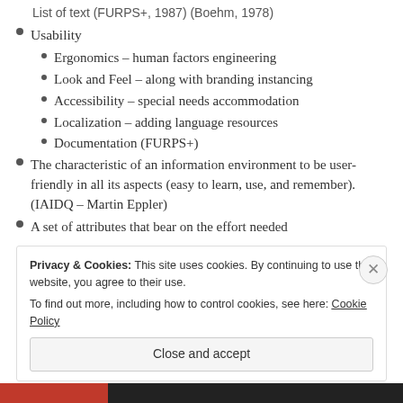Usability
Ergonomics – human factors engineering
Look and Feel – along with branding instancing
Accessibility – special needs accommodation
Localization – adding language resources
Documentation (FURPS+)
The characteristic of an information environment to be user-friendly in all its aspects (easy to learn, use, and remember). (IAIDQ – Martin Eppler)
A set of attributes that bear on the effort needed
Privacy & Cookies: This site uses cookies. By continuing to use this website, you agree to their use.
To find out more, including how to control cookies, see here: Cookie Policy
Close and accept